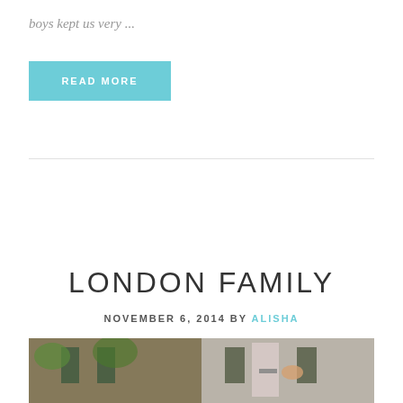boys kept us very ...
READ MORE
LONDON FAMILY
NOVEMBER 6, 2014 by ALISHA
[Figure (photo): Outdoor photo strip showing a brick building with green shutters and foliage, two panel image]